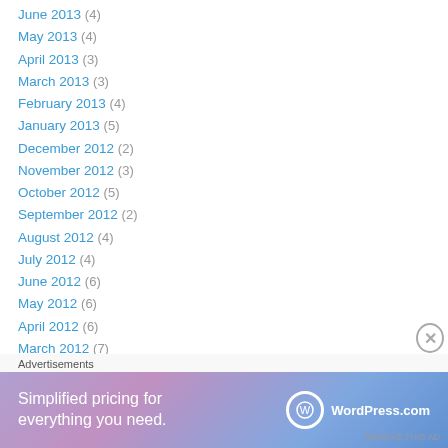June 2013 (4)
May 2013 (4)
April 2013 (3)
March 2013 (3)
February 2013 (4)
January 2013 (5)
December 2012 (2)
November 2012 (3)
October 2012 (5)
September 2012 (2)
August 2012 (4)
July 2012 (4)
June 2012 (6)
May 2012 (6)
April 2012 (6)
March 2012 (7)
February 2012 (4)
Advertisements
[Figure (other): WordPress.com advertisement banner: Simplified pricing for everything you need.]